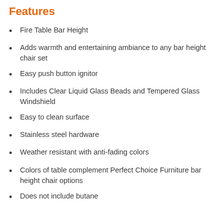Features
Fire Table Bar Height
Adds warmth and entertaining ambiance to any bar height chair set
Easy push button ignitor
Includes Clear Liquid Glass Beads and Tempered Glass Windshield
Easy to clean surface
Stainless steel hardware
Weather resistant with anti-fading colors
Colors of table complement Perfect Choice Furniture bar height chair options
Does not include butane